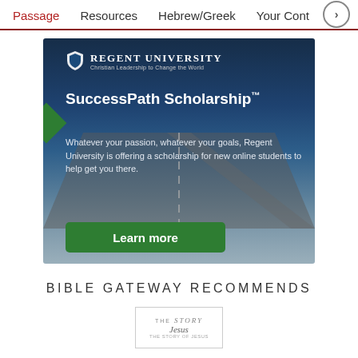Passage   Resources   Hebrew/Greek   Your Cont >
[Figure (illustration): Regent University SuccessPath Scholarship advertisement. Dark blue sky and road background. Logo at top with shield icon. Green diamond accent on left. Headline: SuccessPath Scholarship™. Body text: Whatever your passion, whatever your goals, Regent University is offering a scholarship for new online students to help get you there. Green 'Learn more' button at bottom.]
BIBLE GATEWAY RECOMMENDS
[Figure (logo): The Story of Jesus book/product logo with cursive text]